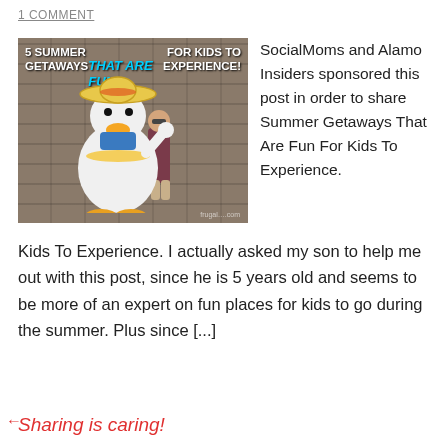1 COMMENT
[Figure (photo): Photo of Donald Duck character in sombrero with a child, with overlaid text: '5 Summer Getaways THAT ARE FUN FOR KIDS TO EXPERIENCE!']
SocialMoms and Alamo Insiders sponsored this post in order to share Summer Getaways That Are Fun For Kids To Experience. I actually asked my son to help me out with this post, since he is 5 years old and seems to be more of an expert on fun places for kids to go during the summer. Plus since [...]
Sharing is caring!